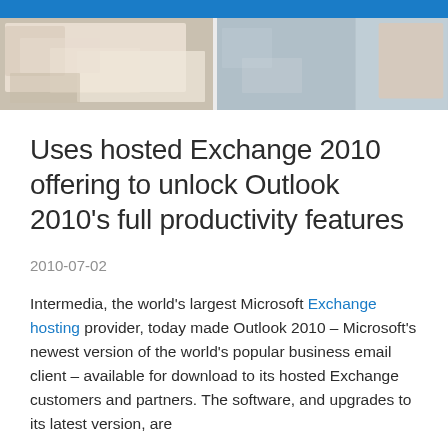[Figure (photo): Header banner with blue bar at top and photos of office/library settings with people working]
Uses hosted Exchange 2010 offering to unlock Outlook 2010’s full productivity features
2010-07-02
Intermedia, the world's largest Microsoft Exchange hosting provider, today made Outlook 2010 – Microsoft’s newest version of the world’s popular business email client – available for download to its hosted Exchange customers and partners. The software, and upgrades to its latest version, are